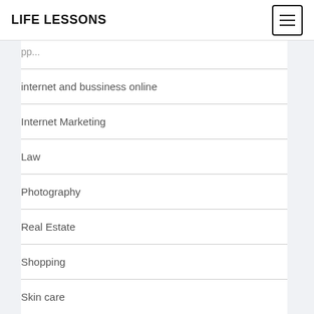LIFE LESSONS
internet and bussiness online
Internet Marketing
Law
Photography
Real Estate
Shopping
Skin care
Social media
Software
Sports